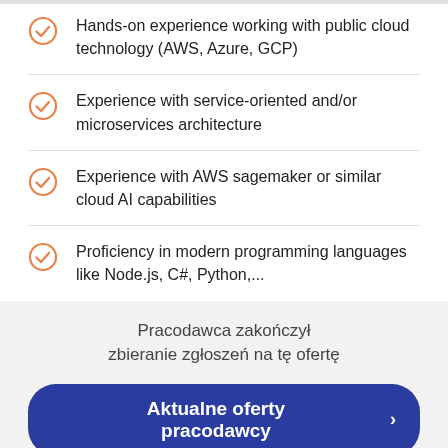Hands-on experience working with public cloud technology (AWS, Azure, GCP)
Experience with service-oriented and/or microservices architecture
Experience with AWS sagemaker or similar cloud AI capabilities
Proficiency in modern programming languages like Node.js, C#, Python,...
Pracodawca zakończył zbieranie zgłoszeń na tę ofertę
Aktualne oferty pracodawcy